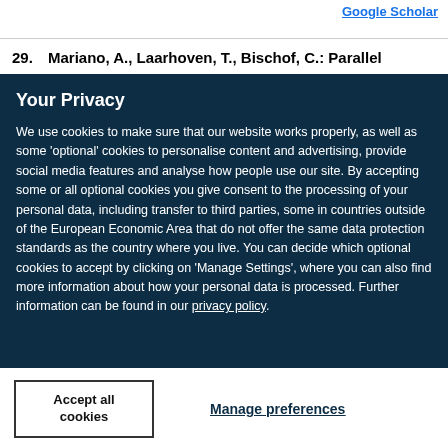Google Scholar
29. Mariano, A., Laarhoven, T., Bischof, C.: Parallel
Your Privacy
We use cookies to make sure that our website works properly, as well as some 'optional' cookies to personalise content and advertising, provide social media features and analyse how people use our site. By accepting some or all optional cookies you give consent to the processing of your personal data, including transfer to third parties, some in countries outside of the European Economic Area that do not offer the same data protection standards as the country where you live. You can decide which optional cookies to accept by clicking on 'Manage Settings', where you can also find more information about how your personal data is processed. Further information can be found in our privacy policy.
Accept all cookies
Manage preferences